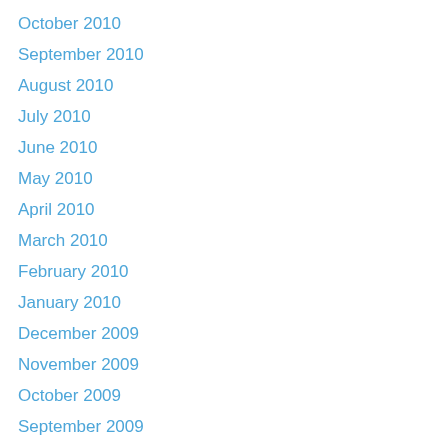October 2010
September 2010
August 2010
July 2010
June 2010
May 2010
April 2010
March 2010
February 2010
January 2010
December 2009
November 2009
October 2009
September 2009
August 2009
June 2009
May 2009
April 2009
March 2009
February 2009